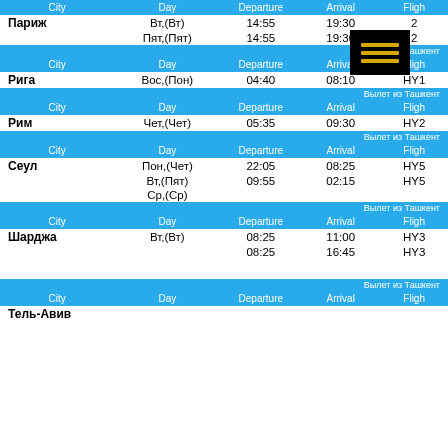| City | Day | Departure | Arrival | Flight |
| --- | --- | --- | --- | --- |
| Париж | Вт,(Вт) | 14:55 | 19:30 | 2 |
|  | Пят,(Пят) | 14:55 | 19:30 | 2 |
| Рига | Вос,(Пон) | 04:40 | 08:10 | HY1 |
| Рим | Чет,(Чет) | 05:35 | 09:30 | HY2 |
| Сеул | Пон,(Чет) | 22:05 | 08:25 | HY5 |
|  | Вт,(Пят) | 09:55 | 02:15 | HY5 |
|  | Ср,(Ср) |  |  |  |
| Шарджа | Вт,(Вт) | 08:25 | 11:00 | HY3 |
|  |  | 08:25 | 16:45 | HY3 |
| Тель-Авив |  |  |  |  |